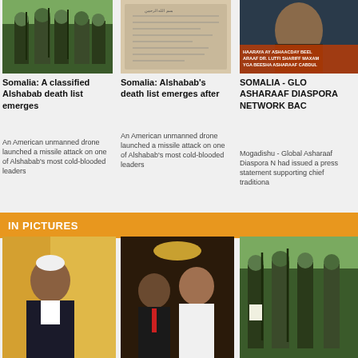[Figure (photo): Armed soldiers or militants in camouflage holding rifles and papers]
Somalia: A classified Alshabab death list emerges
An American unmanned drone launched a missile attack on one of Alshabab's most cold-blooded leaders
[Figure (photo): Handwritten Arabic document or letter on aged paper]
Somalia: Alshabab's death list emerges after
An American unmanned drone launched a missile attack on one of Alshabab's most cold-blooded leaders
[Figure (photo): Somali man with text overlay about Asharaaf Diaspora Network]
SOMALIA - GLO ASHARAAF DIASPORA NETWORK BAC
Mogadishu - Global Asharaaf Diaspora N had issued a press statement supporting chief traditiona
IN PICTURES
[Figure (photo): Somali man in white hat seated, formal attire]
[Figure (photo): Two men shaking hands, one in white Arab dress]
[Figure (photo): Armed militants in camouflage holding papers]